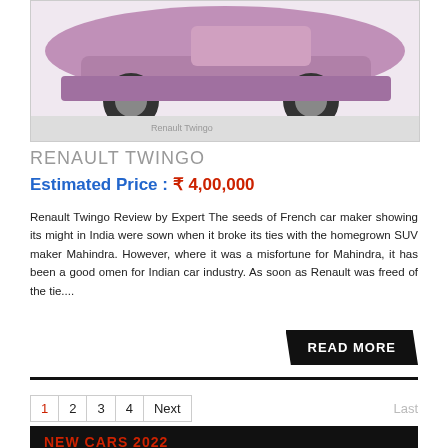[Figure (photo): Renault Twingo car image, pinkish/purple colored small car shown from front-side angle]
RENAULT TWINGO
Estimated Price : ₹ 4,00,000
Renault Twingo Review by Expert The seeds of French car maker showing its might in India were sown when it broke its ties with the homegrown SUV maker Mahindra. However, where it was a misfortune for Mahindra, it has been a good omen for Indian car industry. As soon as Renault was freed of the tie....
READ MORE
1  2  3  4  Next  Last
NEW CARS 2022
VOLVO XC40 RECHARGE